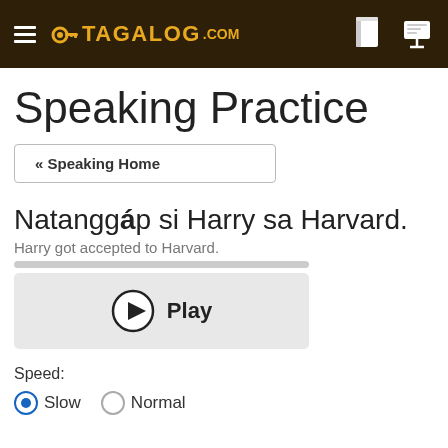Tagalog.com
Speaking Practice
« Speaking Home
Natanggáp si Harry sa Harvard.
Harry got accepted to Harvard.
Play
Speed:
Slow   Normal